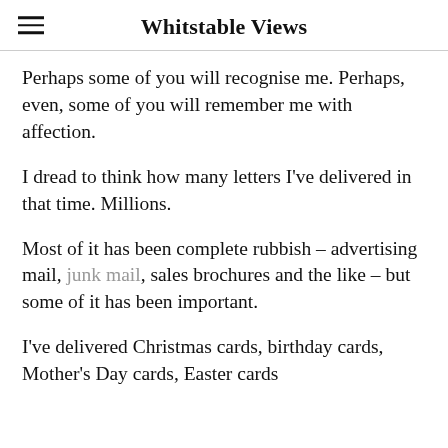Whitstable Views
Perhaps some of you will recognise me. Perhaps, even, some of you will remember me with affection.
I dread to think how many letters I've delivered in that time. Millions.
Most of it has been complete rubbish – advertising mail, junk mail, sales brochures and the like – but some of it has been important.
I've delivered Christmas cards, birthday cards, Mother's Day cards, Easter cards